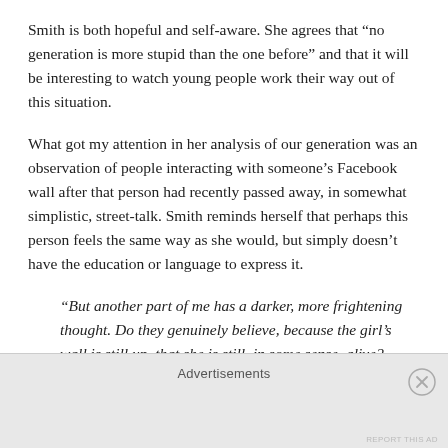Smith is both hopeful and self-aware. She agrees that “no generation is more stupid than the one before” and that it will be interesting to watch young people work their way out of this situation.
What got my attention in her analysis of our generation was an observation of people interacting with someone’s Facebook wall after that person had recently passed away, in somewhat simplistic, street-talk. Smith reminds herself that perhaps this person feels the same way as she would, but simply doesn’t have the education or language to express it.
“But another part of me has a darker, more frightening thought. Do they genuinely believe, because the girl’s wall is still up, that she is still, in some sense, alive? What’s the
Advertisements